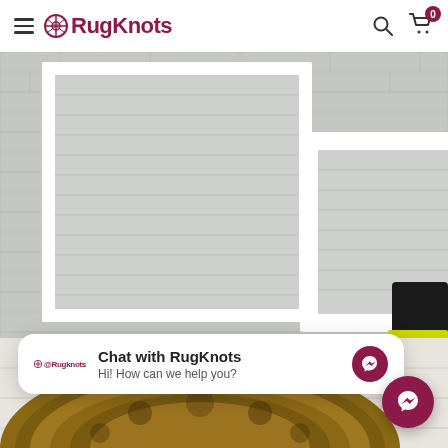RugKnots navigation bar with hamburger menu, logo, search and cart icons
[Figure (photo): White painted brick wall with two white square shadow box frames mounted on it, and a black chair with yellow seat visible at the right edge]
[Figure (screenshot): Chat popup widget: RugKnots logo on left, 'Chat with RugKnots' title and 'Hi! How can we help you?' subtitle, messenger icon button on right]
[Figure (photo): Partial view of a round ornate traditional rug with brown and gold patterns on white wooden floor]
[Figure (other): Floating messenger chat button (dark pink/maroon circle with messenger lightning bolt icon)]